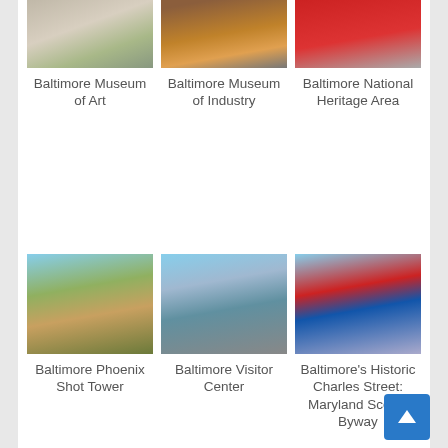[Figure (photo): Baltimore Museum of Art exterior photo]
Baltimore Museum of Art
[Figure (photo): Baltimore Museum of Industry interior photo]
Baltimore Museum of Industry
[Figure (photo): Baltimore National Heritage Area red ship photo]
Baltimore National Heritage Area
[Figure (photo): Baltimore Phoenix Shot Tower exterior photo]
Baltimore Phoenix Shot Tower
[Figure (photo): Baltimore Visitor Center building photo]
Baltimore Visitor Center
[Figure (photo): Baltimore's Historic Charles Street: Maryland Scenic Byway waterfront photo]
Baltimore's Historic Charles Street: Maryland Scenic Byway
[Figure (photo): Bromo partial photo]
Bromo
[Figure (photo): Canton waterfront photo]
Canton
[Figure (photo): Christmas text/sign photo]
Christmas